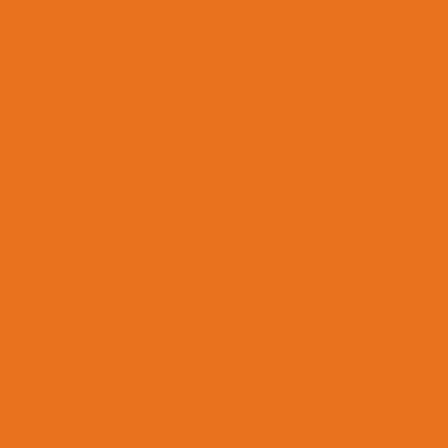[Figure (illustration): Large orange rectangular block filling the left portion of the page]
Mike DeCapite, Lucy from the Handler Bro p.m. Door: $10
San Francisco, W 13, 7:00 p.m.